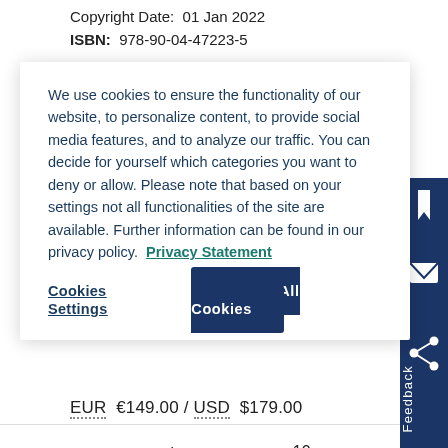Copyright Date:  01 Jan 2022
ISBN:  978-90-04-47223-5
We use cookies to ensure the functionality of our website, to personalize content, to provide social media features, and to analyze our traffic. You can decide for yourself which categories you want to deny or allow. Please note that based on your settings not all functionalities of the site are available. Further information can be found in our privacy policy.  Privacy Statement
Cookies Settings
Accept All Cookies
EUR  €149.00 / USD  $179.00
Items per page  10
Sort by  Date - Recent to Old